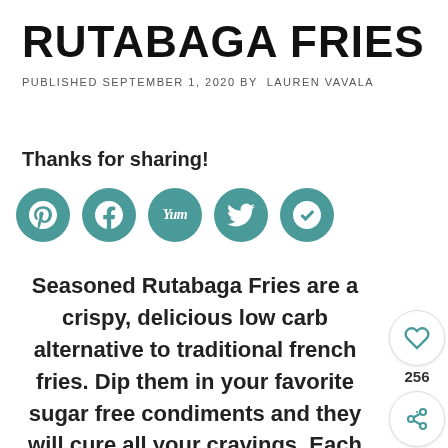RUTABAGA FRIES
PUBLISHED SEPTEMBER 1, 2020 BY LAUREN VAVALA
Thanks for sharing!
[Figure (infographic): Row of five circular teal social sharing buttons: Pinterest (p), Facebook (f), Yummly (Yum), Twitter (bird icon), Mix (m)]
Seasoned Rutabaga Fries are a crispy, delicious low carb alternative to traditional french fries. Dip them in your favorite sugar free condiments and they will cure all your cravings. Each serving has only 7 net carbs making them a great choice for those following a keto diet,